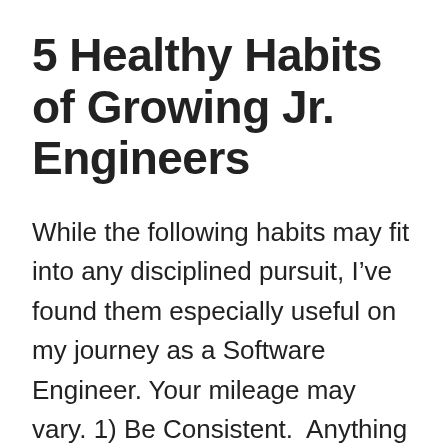5 Healthy Habits of Growing Jr. Engineers
While the following habits may fit into any disciplined pursuit, I've found them especially useful on my journey as a Software Engineer. Your mileage may vary. 1) Be Consistent.  Anything can be accomplished when broken down into small enough chunks and executed on over time. When I first